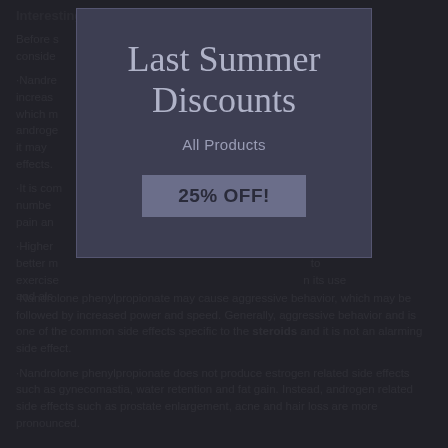Interesting facts about nandrolone phenyl propionate
Before starting to use it, there are some important things to take into consideration.
Nandrolone phenylpropionate has a high anabolic rating of increasing nitrogen retention and protein synthesis rating, which makes it an androgenic compound. At high doses it may cause serious side effects.
It is considered that nandrolone phenylpropionate increases the number of red blood cells, joint pain and...
Higher doses of nandrolone phenylpropionate produce better results and improve body response to exercise. However there are risks with its use and also...
[Figure (other): Modal popup advertisement overlay with dark blue-grey background reading 'Last Summer Discounts - All Products - 25% OFF!']
Nandrolone phenylpropionate may cause aggressive behavior, which may be followed by increased power and speed. Generally, aggressive behavior and is one of the common side effects specific to the steroids and it is not an alarming side effect.
Nandrolone phenylpropionate does not produce estrogen related side effects such as gynecomastia, water retention and fat gain. Instead, androgen related side effects such as prostate enlargement, acne and hair loss are more pronounced.